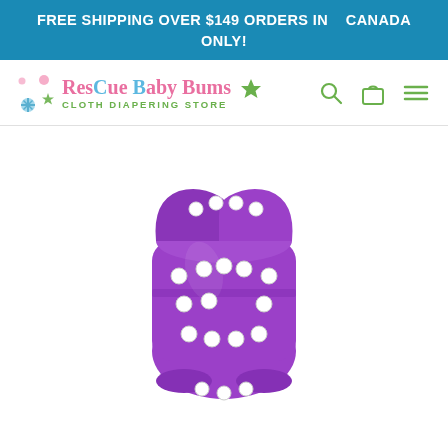FREE SHIPPING OVER $149 ORDERS IN    CANADA ONLY!
[Figure (logo): ResCue Baby Bums Cloth Diapering Store logo with colorful bubble/star decorations]
[Figure (photo): Purple cloth diaper with white snap buttons on white background]